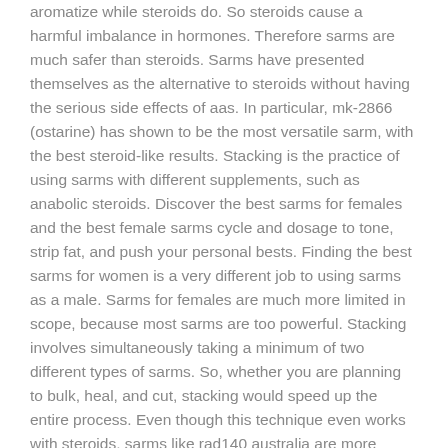aromatize while steroids do. So steroids cause a harmful imbalance in hormones. Therefore sarms are much safer than steroids. Sarms have presented themselves as the alternative to steroids without having the serious side effects of aas. In particular, mk-2866 (ostarine) has shown to be the most versatile sarm, with the best steroid-like results. Stacking is the practice of using sarms with different supplements, such as anabolic steroids. Discover the best sarms for females and the best female sarms cycle and dosage to tone, strip fat, and push your personal bests. Finding the best sarms for women is a very different job to using sarms as a male. Sarms for females are much more limited in scope, because most sarms are too powerful. Stacking involves simultaneously taking a minimum of two different types of sarms. So, whether you are planning to bulk, heal, and cut, stacking would speed up the entire process. Even though this technique even works with steroids, sarms like rad140 australia are more versatile and offer more options to the users
All steroid cycles and stacks carry with them a strong risk to